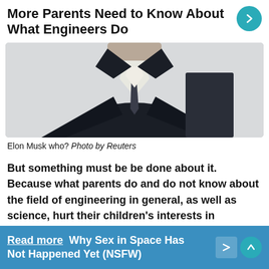More Parents Need to Know About What Engineers Do
[Figure (photo): Close-up of a person in a dark suit with white shirt and tie, face cropped out, attributed to Reuters]
Elon Musk who? Photo by Reuters
But something must be done about it. Because what parents do and do not know about the field of engineering in general, as well as science, hurt their children's interests in pursuing a career in the industry.
Read more  Why Sex in Space Has Not Happened Yet (NSFW)